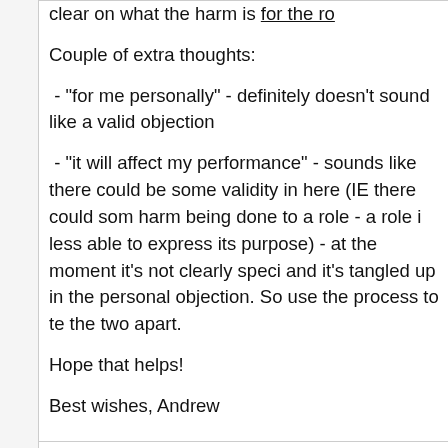clear on what the harm is for the ro
Couple of extra thoughts:
- "for me personally" - definitely doesn't sound like a valid objection
- "it will affect my performance" - sounds like there could be some validity in here (IE there could som harm being done to a role - a role i less able to express its purpose) - at the moment it's not clearly speci and it's tangled up in the personal objection. So use the process to te the two apart.
Hope that helps!
Best wishes, Andrew